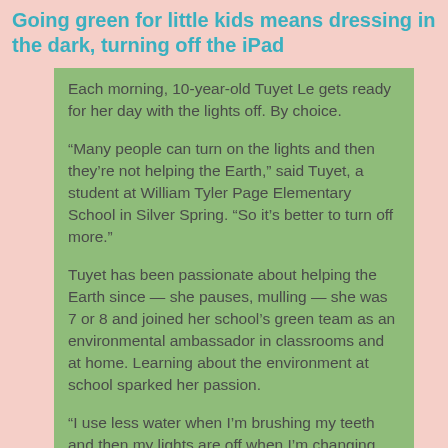Going green for little kids means dressing in the dark, turning off the iPad
Each morning, 10-year-old Tuyet Le gets ready for her day with the lights off. By choice.
“Many people can turn on the lights and then they’re not helping the Earth,” said Tuyet, a student at William Tyler Page Elementary School in Silver Spring. “So it’s better to turn off more.”
Tuyet has been passionate about helping the Earth since — she pauses, mulling — she was 7 or 8 and joined her school’s green team as an environmental ambassador in classrooms and at home. Learning about the environment at school sparked her passion.
“I use less water when I’m brushing my teeth and then my lights are off when I’m changing, so I can save electricity,” she said. “At the end of the day, I always turn off my iPad before I go to bed,” and